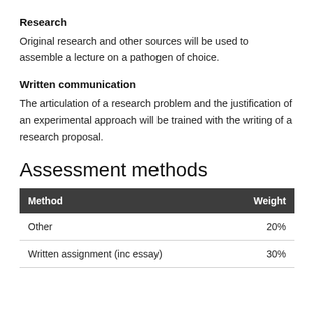Research
Original research and other sources will be used to assemble a lecture on a pathogen of choice.
Written communication
The articulation of a research problem and the justification of an experimental approach will be trained with the writing of a research proposal.
Assessment methods
| Method | Weight |
| --- | --- |
| Other | 20% |
| Written assignment (inc essay) | 30% |